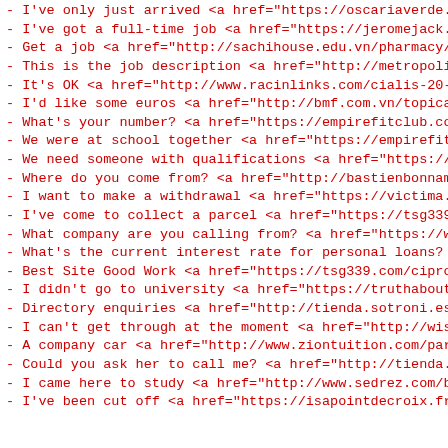- I've only just arrived <a href="https://oscariaverde.co
- I've got a full-time job <a href="https://jeromejack.fr
- Get a job <a href="http://sachihouse.edu.vn/pharmacy/in
- This is the job description <a href="http://metropolita
- It's OK <a href="http://www.racinlinks.com/cialis-20-mg
- I'd like some euros <a href="http://bmf.com.vn/topical-
- What's your number? <a href="https://empirefitclub.com/
- We were at school together <a href="https://empirefitcl
- We need someone with qualifications <a href="https://cl
- Where do you come from? <a href="http://bastienbonnaman
- I want to make a withdrawal <a href="https://victima.or
- I've come to collect a parcel <a href="https://tsg339.c
- What company are you calling from? <a href="https://www
- What's the current interest rate for personal loans? <a
- Best Site Good Work <a href="https://tsg339.com/ciprohe
- I didn't go to university <a href="https://truthaboutbo
- Directory enquiries <a href="http://tienda.sotroni.es/s
- I can't get through at the moment <a href="http://wisat
- A company car <a href="http://www.ziontuition.com/parac
- Could you ask her to call me? <a href="http://tienda.so
- I came here to study <a href="http://www.sedrez.com/bes
- I've been cut off <a href="https://isapointdecroix.fr/m